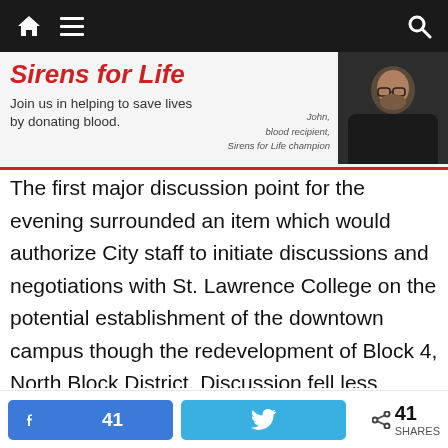Navigation bar with home, menu, and search icons
[Figure (infographic): Sirens for Life banner ad: red bold italic title 'Sirens for Life', subtitle 'Join us in helping to save lives by donating blood.', credit 'John, blood recipient, Sirens for Life champion', and a photo of a man in black]
The first major discussion point for the evening surrounded an item which would authorize City staff to initiate discussions and negotiations with St. Lawrence College on the potential establishment of the downtown campus though the redevelopment of Block 4, North Block District. Discussion fell less around the concept of a downtown campus, which was approved in the Strategic Plan, but more surrounding the value of this potential partnership, ownership of the land or building, potential use cases, height and traffic
41 [Facebook share button] [Twitter share button] < 41 SHARES